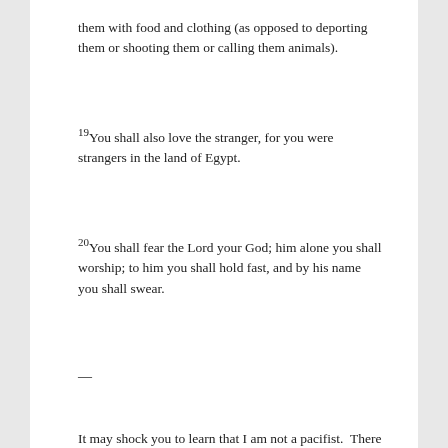them with food and clothing (as opposed to deporting them or shooting them or calling them animals).
19You shall also love the stranger, for you were strangers in the land of Egypt.
20You shall fear the Lord your God; him alone you shall worship; to him you shall hold fast, and by his name you shall swear.
—
It may shock you to learn that I am not a pacifist.  There